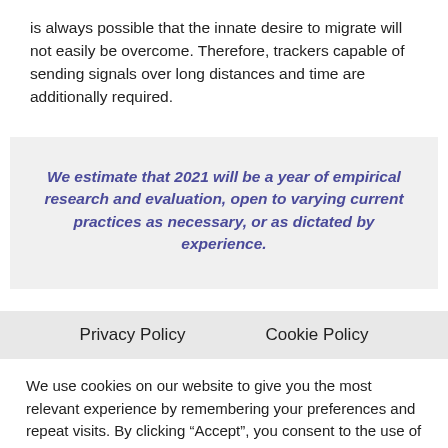is always possible that the innate desire to migrate will not easily be overcome. Therefore, trackers capable of sending signals over long distances and time are additionally required.
We estimate that 2021 will be a year of empirical research and evaluation, open to varying current practices as necessary, or as dictated by experience.
Privacy Policy   Cookie Policy
We use cookies on our website to give you the most relevant experience by remembering your preferences and repeat visits. By clicking “Accept”, you consent to the use of ALL the cookies.
Cookie settings   ACCEPT
Read More